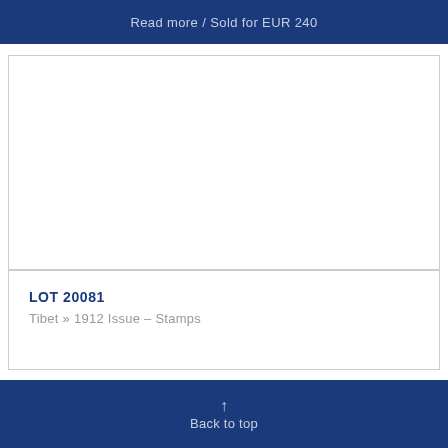Read more / Sold for EUR 240
[Figure (photo): Empty white image placeholder box for auction lot]
LOT 20081
Tibet » 1912 Issue – Stamps
↑ Back to top